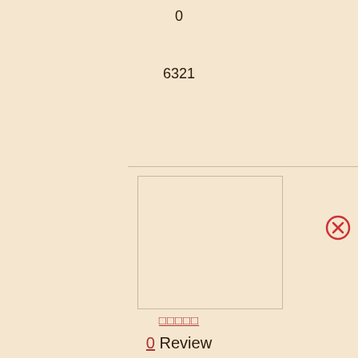0
6321
[Figure (screenshot): A UI panel showing a blank image/photo placeholder rectangle with a light border, below a horizontal divider line. A red circle-X close button appears on the right side.]
□□□□□
0 Review(s)
Level 1
98
0
3709